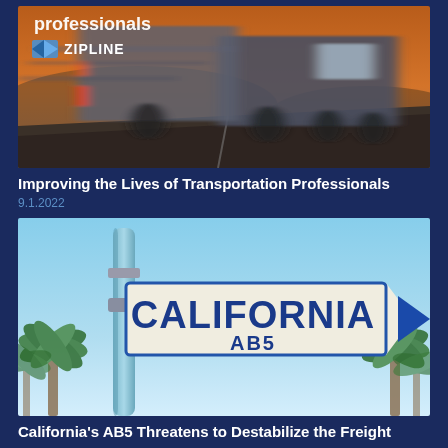[Figure (photo): Blurred motion photo of a large truck on a highway at dusk/sunset with orange sky. Text overlay reads 'professionals' at top and 'ZIPLINE' logo with a zigzag arrow icon below it.]
Improving the Lives of Transportation Professionals
9.1.2022
[Figure (photo): Photo of a blue street sign shaped like an arrow pointing right, with 'CALIFORNIA' in large blue letters and 'AB5' below it, mounted on a pole against a clear sky with palm trees in the background.]
California's AB5 Threatens to Destabilize the Freight